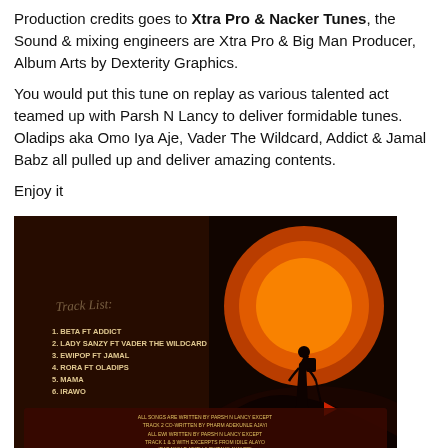Production credits goes to Xtra Pro & Nacker Tunes, the Sound & mixing engineers are Xtra Pro & Big Man Producer, Album Arts by Dexterity Graphics.
You would put this tune on replay as various talented act teamed up with Parsh N Lancy to deliver formidable tunes. Oladips aka Omo Iya Aje, Vader The Wildcard, Addict & Jamal Babz all pulled up and deliver amazing contents.
Enjoy it
[Figure (illustration): Album artwork showing a dark background with an orange/red sun, silhouette of a person with a backpack hiking. Contains Track List: 1. BETA FT ADDICT, 2. LADY SANZY FT VADER THE WILDCARD, 3. EWIPOP FT JAMAL, 4. RORA FT OLADIPS, 5. MAMA, 6. IRAWO. Credits text at bottom: ALL SONGS ARE WRITTEN BY PARSH N LANCY EXCEPT TRACK 2 CO-WRITTEN BY PHARM ADEKUNLE AJAYI. ALL EWI WRITTEN BY PARSH N LANCY EXCEPT TRACK 1 & 3 WITH EXCERPTS FROM IDILE ALAYO (BABAWALE ADITU & EYITAYO AYANFE). EP TILE WAS INSPIRED BY PHARM OKUSANYA OLUSOLA. MIXED & MASTERED BY: TRACK 2, 3, 4, 5, 6 (XTRA PRO) TRACK 1 (BIG MAN PRODUCER). PRODUCER BY:]